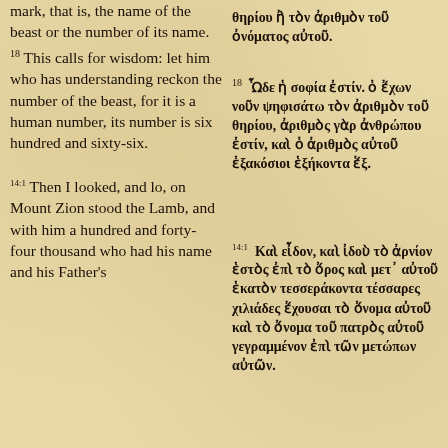mark, that is, the name of the beast or the number of its name.
18 This calls for wisdom: let him who has understanding reckon the number of the beast, for it is a human number, its number is six hundred and sixty-six.
14:1 Then I looked, and lo, on Mount Zion stood the Lamb, and with him a hundred and forty-four thousand who had his name and his Father's
θηρίου ἢ τὸν ἀριθμὸν τοῦ ὀνόματος αὐτοῦ.
18 Ὧδε ἡ σοφία ἐστίν. ὁ ἔχων νοῦν ψηφισάτω τὸν ἀριθμὸν τοῦ θηρίου, ἀριθμὸς γὰρ ἀνθρώπου ἐστίν, καὶ ὁ ἀριθμὸς αὐτοῦ ἐξακόσιοι ἑξήκοντα ἕξ.
14:1 Καὶ εἶδον, καὶ ἰδοὺ τὸ ἀρνίον ἑστὸς ἐπὶ τὸ ὄρος καὶ μετ᾽ αὐτοῦ ἑκατὸν τεσσεράκοντα τέσσαρες χιλιάδες ἔχουσαι τὸ ὄνομα αὐτοῦ καὶ τὸ ὄνομα τοῦ πατρὸς αὐτοῦ γεγραμμένον ἐπὶ τῶν μετώπων αὐτῶν.